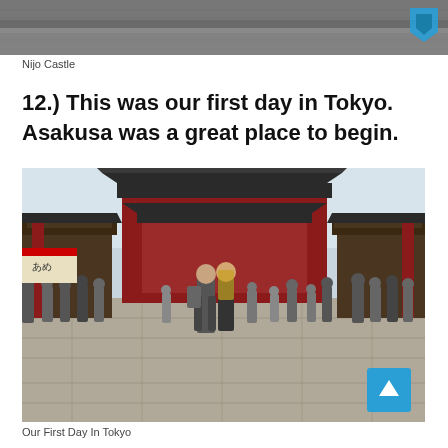[Figure (photo): Top portion of a photo of Nijo Castle, showing roof/stone texture with a small teal logo in the upper right corner]
Nijo Castle
12.) This was our first day in Tokyo. Asakusa was a great place to begin.
[Figure (photo): A couple posing in front of the Senso-ji temple gate in Asakusa, Tokyo, surrounded by crowds of tourists along a shopping street. A teal scroll-to-top button is visible in the bottom right corner of the image.]
Our First Day In Tokyo